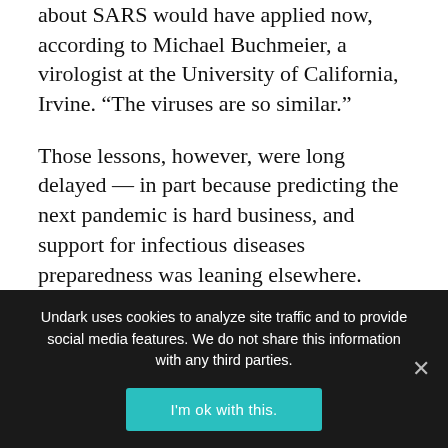about SARS would have applied now, according to Michael Buchmeier, a virologist at the University of California, Irvine. “The viruses are so similar.”
Those lessons, however, were long delayed — in part because predicting the next pandemic is hard business, and support for infectious diseases preparedness was leaning elsewhere. Both SARS and its far deadlier coronavirus cousin, Middle East Respiratory Syndrome (MERS), were understood to be threats. But other coronaviruses cause the common cold, and even the SARS and MERS outbreaks each burned out in less than
Undark uses cookies to analyze site traffic and to provide social media features. We do not share this information with any third parties.
I'm ok with this.